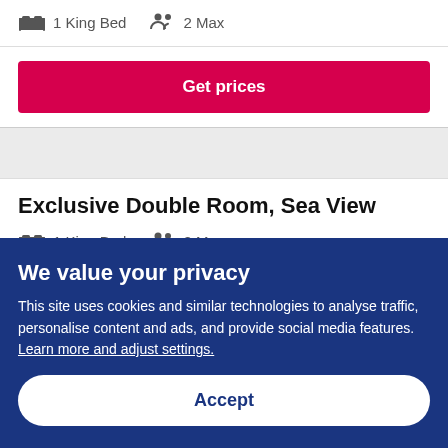1 King Bed  2 Max
Get prices
Exclusive Double Room, Sea View
1 King Bed  2 Max
We value your privacy
This site uses cookies and similar technologies to analyse traffic, personalise content and ads, and provide social media features. Learn more and adjust settings.
Accept